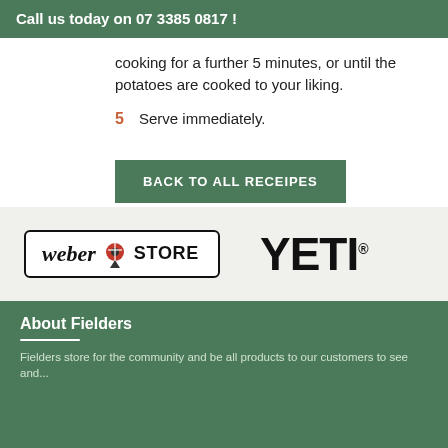Call us today on 07 3385 0817 !
cooking for a further 5 minutes, or until the potatoes are cooked to your liking.
5  Serve immediately.
BACK TO ALL RECEIPES
[Figure (logo): Weber Store logo and YETI logo side by side on a light beige background]
About Fielders